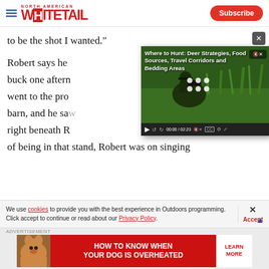North American Whitetail - Subscribe
to be the shot I wanted."
Robert says he buck one afternwent to the probarn, and he sawright beneath Rof being in that stand, Robert was on singing
[Figure (screenshot): Embedded video player with title: Where to Hunt: Deer Strategies, Food Sources, Travel Corridors and Bedding Areas. Duration 02:23, currently at 00:00. Thumbnail shows hunter looking through binoculars in field.]
We use cookies to provide you with the best experience in Outdoors programming. Click accept to continue or read about our Privacy Policy.
[Figure (photo): Advertisement banner: HOW TO KNOW WHEN YOUR DOG IS OVERHEATED - LEARN MORE]